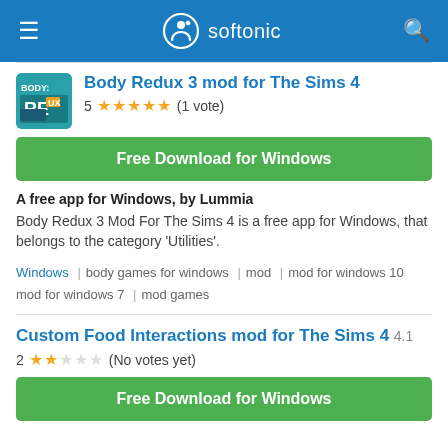softonic
Body Redux 3 mod for The Sims 4
5 ★★★★★ (1 vote)
Free Download for Windows
A free app for Windows, by Lummia
Body Redux 3 Mod For The Sims 4 is a free app for Windows, that belongs to the category 'Utilities'.
Windows | body games for windows | mod | mod for windows 10 mod for windows 7 | mod games
Custom Food Interactions mod for The Sims 4 4.1
2 ★★☆☆☆ (No votes yet)
Free Download for Windows